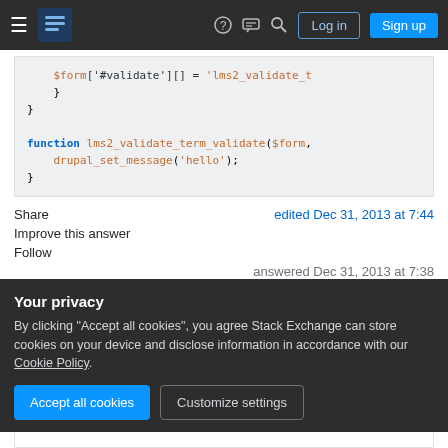Stack Exchange navigation bar with Log in and Sign up buttons
[Figure (screenshot): Code block showing PHP code: $form['#validate'][] = 'lms2_validate_t ... } } function lms2_validate_term_validate($form, ... drupal_set_message('hello'); }]
Share   edited Dec 31, 2013 at 7:44
Improve this answer
Follow
answered Dec 31, 2013 at 7:38
Your privacy
By clicking "Accept all cookies", you agree Stack Exchange can store cookies on your device and disclose information in accordance with our Cookie Policy.
Accept all cookies   Customize settings